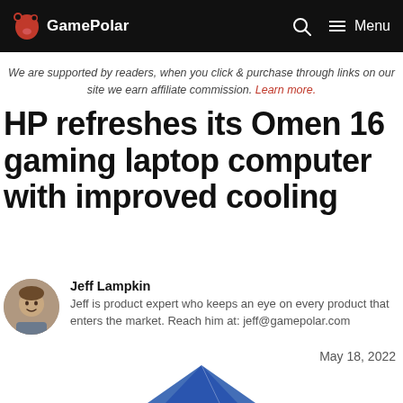GamePolar
We are supported by readers, when you click & purchase through links on our site we earn affiliate commission. Learn more.
HP refreshes its Omen 16 gaming laptop computer with improved cooling
Jeff Lampkin
Jeff is product expert who keeps an eye on every product that enters the market. Reach him at: jeff@gamepolar.com
May 18, 2022
[Figure (photo): Partial image of HP Omen 16 gaming laptop visible at the bottom of the page]